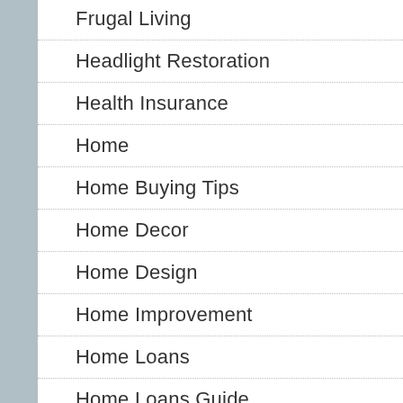Frugal Living
Headlight Restoration
Health Insurance
Home
Home Buying Tips
Home Decor
Home Design
Home Improvement
Home Loans
Home Loans Guide
Home Ownership
Home Repair